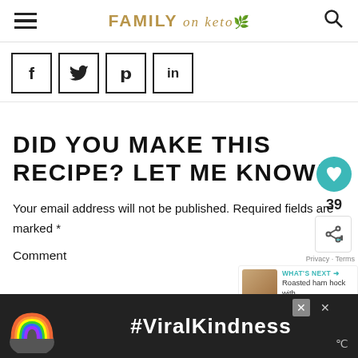FAMILY on keto
[Figure (screenshot): Social share buttons: Facebook (f), Twitter bird, Pinterest (p), LinkedIn (in) - four square icon buttons with black borders]
DID YOU MAKE THIS RECIPE? LET ME KNOW!
Your email address will not be published. Required fields are marked *
Comment
[Figure (infographic): Bottom ad banner with rainbow illustration and #ViralKindness text on dark background]